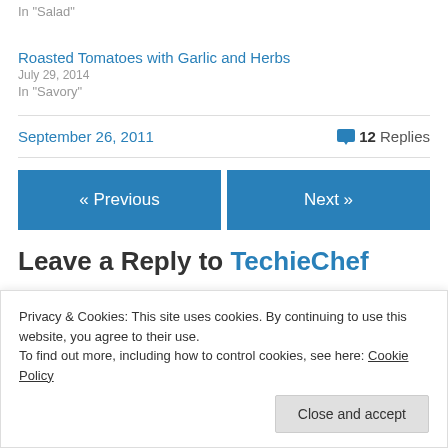In "Salad"
Roasted Tomatoes with Garlic and Herbs
July 29, 2014
In "Savory"
September 26, 2011   💬 12 Replies
« Previous
Next »
Leave a Reply to TechieChef
Privacy & Cookies: This site uses cookies. By continuing to use this website, you agree to their use.
To find out more, including how to control cookies, see here: Cookie Policy